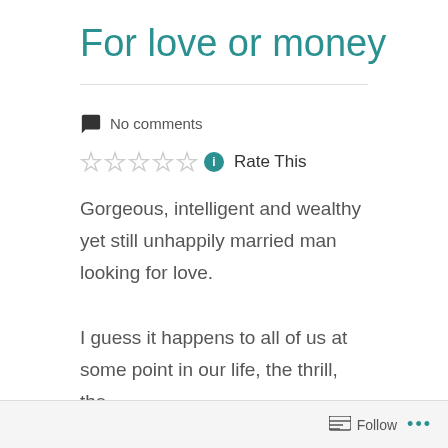For love or money
No comments
Rate This
Gorgeous, intelligent and wealthy yet still unhappily married man looking for love.
I guess it happens to all of us at some point in our life, the thrill, the
Follow ...